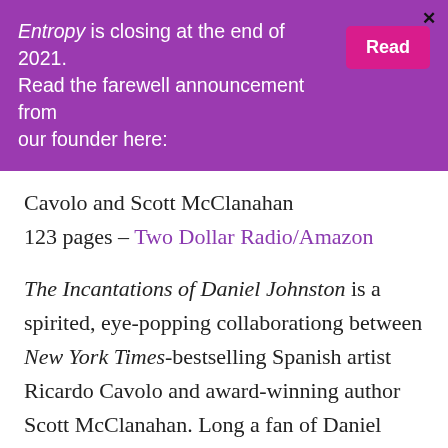Entropy is closing at the end of 2021. Read the farewell announcement from our founder here:  [Read button]
Cavolo and Scott McClanahan
123 pages – Two Dollar Radio/Amazon
The Incantations of Daniel Johnston is a spirited, eye-popping collaborationg between New York Times-bestselling Spanish artist Ricardo Cavolo and award-winning author Scott McClanahan. Long a fan of Daniel Johnston, the man and his music, Cavolo illustrates Johnston's colorful life, from his humble beginnings as a carnival employee to folk musician in